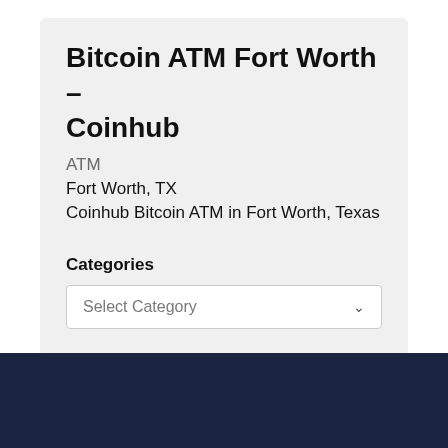Bitcoin ATM Fort Worth – Coinhub
ATM
Fort Worth, TX
Coinhub Bitcoin ATM in Fort Worth, Texas
Categories
Select Category